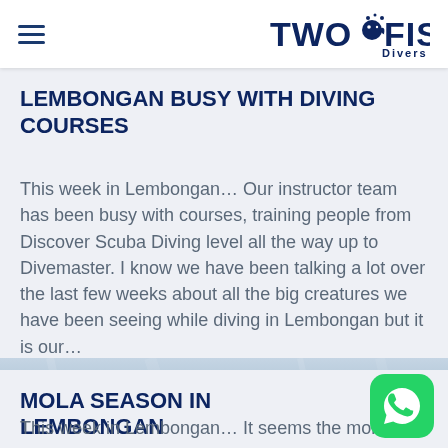Two Fish Divers
LEMBONGAN BUSY WITH DIVING COURSES
This week in Lembongan… Our instructor team has been busy with courses, training people from Discover Scuba Diving level all the way up to Divemaster. I know we have been talking a lot over the last few weeks about all the big creatures we have been seeing while diving in Lembongan but it is our…
[Figure (photo): Underwater scene with a large manta ray or mola fish visible in blue water]
MOLA SEASON IN LEMBONGAN
This week in Lembongan… It seems the mola